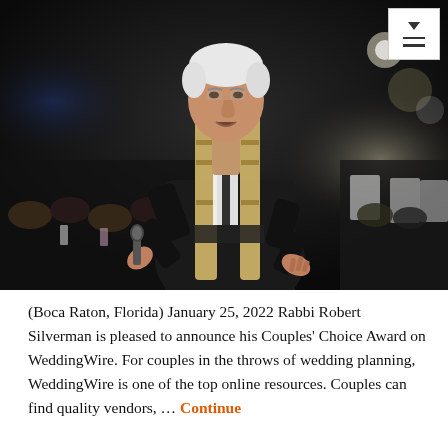[Figure (photo): An elderly man with white hair, wearing a black suit and a gold/cream decorative stole, speaking into a microphone at what appears to be a wedding ceremony. He is gesturing with one hand. An audience is visible in the background, seated in formal attire.]
(Boca Raton, Florida) January 25, 2022 Rabbi Robert Silverman is pleased to announce his Couples' Choice Award on WeddingWire. For couples in the throws of wedding planning, WeddingWire is one of the top online resources. Couples can find quality vendors, … Continue